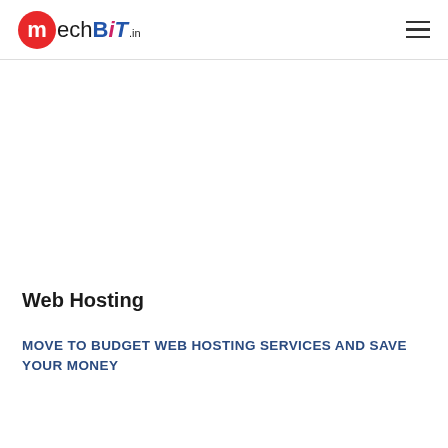mechBiT.in
Web Hosting
MOVE TO BUDGET WEB HOSTING SERVICES AND SAVE YOUR MONEY